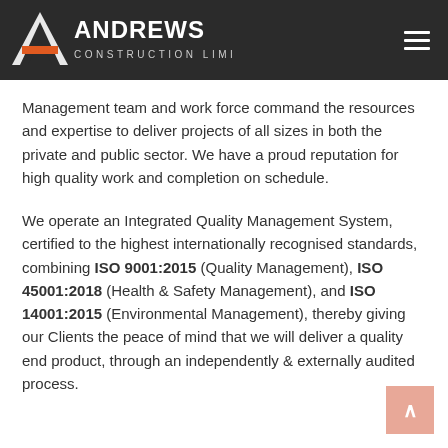[Figure (logo): Andrews Construction Limited logo — white letter A with orange accent, white text ANDREWS CONSTRUCTION LIMITED on dark background]
Management team and work force command the resources and expertise to deliver projects of all sizes in both the private and public sector. We have a proud reputation for high quality work and completion on schedule.
We operate an Integrated Quality Management System, certified to the highest internationally recognised standards, combining ISO 9001:2015 (Quality Management), ISO 45001:2018 (Health & Safety Management), and ISO 14001:2015 (Environmental Management), thereby giving our Clients the peace of mind that we will deliver a quality end product, through an independently & externally audited process.